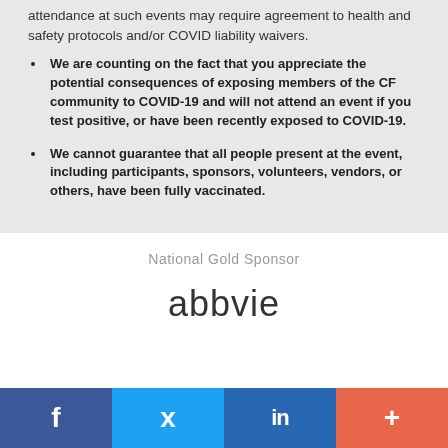attendance at such events may require agreement to health and safety protocols and/or COVID liability waivers.
We are counting on the fact that you appreciate the potential consequences of exposing members of the CF community to COVID-19 and will not attend an event if you test positive, or have been recently exposed to COVID-19.
We cannot guarantee that all people present at the event, including participants, sponsors, volunteers, vendors, or others, have been fully vaccinated.
National Gold Sponsor
[Figure (logo): AbbVie company logo in dark gray text]
f  (Twitter bird icon)  in  +